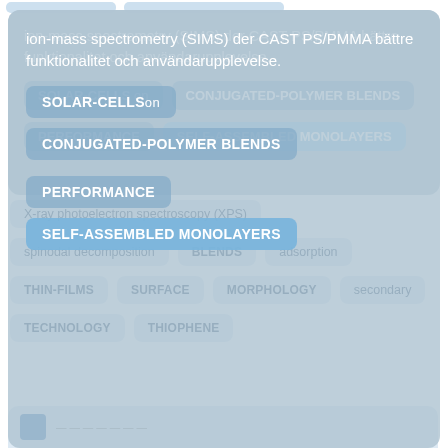ion-mass spectrometry (SIMS) der CAST PS/PMMA bättre funktionalitet och användarupplevelse.
SOLAR-CELLS on
CONJUGATED-POLYMER BLENDS
PERFORMANCE
SELF-ASSEMBLED MONOLAYERS
X-ray photoelectron spectroscopy (XPS)
spinodal decomposition
BLENDS
adsorption
THIN-FILMS
SURFACE
MORPHOLOGY
secondary
TECHNOLOGY
THIOPHENE
[Figure (other): Bottom preview card with blue icon and text, partially visible]